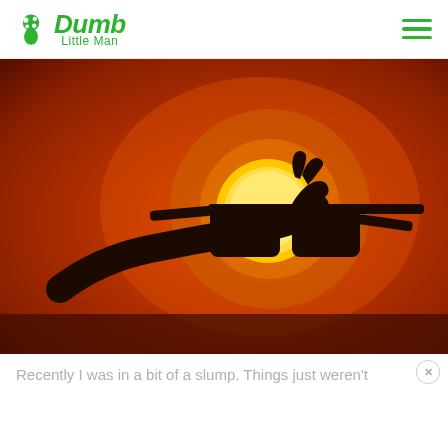Dumb Little Man
[Figure (photo): Silhouette of a hand holding sunglasses up against a large orange sunset sun with warm orange and red sky background.]
Recently I was in a bit of a slump. Things just weren't